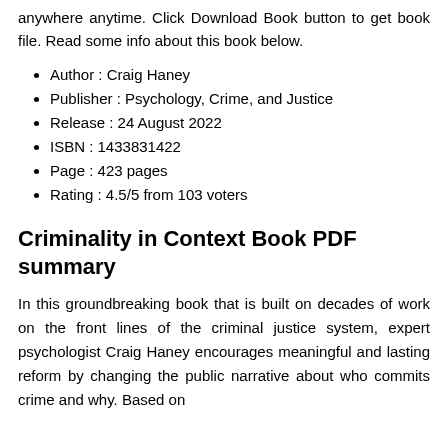anywhere anytime. Click Download Book button to get book file. Read some info about this book below.
Author : Craig Haney
Publisher : Psychology, Crime, and Justice
Release : 24 August 2022
ISBN : 1433831422
Page : 423 pages
Rating : 4.5/5 from 103 voters
Criminality in Context Book PDF summary
In this groundbreaking book that is built on decades of work on the front lines of the criminal justice system, expert psychologist Craig Haney encourages meaningful and lasting reform by changing the public narrative about who commits crime and why. Based on